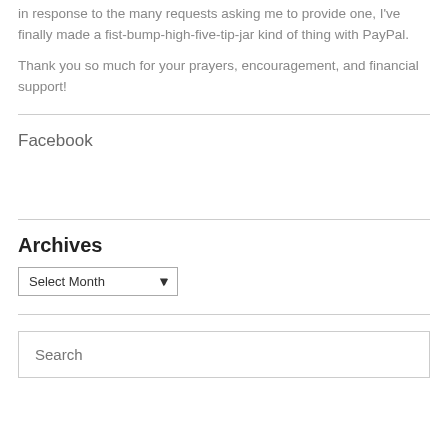in response to the many requests asking me to provide one, I've finally made a fist-bump-high-five-tip-jar kind of thing with PayPal.
Thank you so much for your prayers, encouragement, and financial support!
Facebook
Archives
[Figure (other): Archives dropdown select box with 'Select Month' placeholder]
[Figure (other): Search text input box with 'Search' placeholder text]